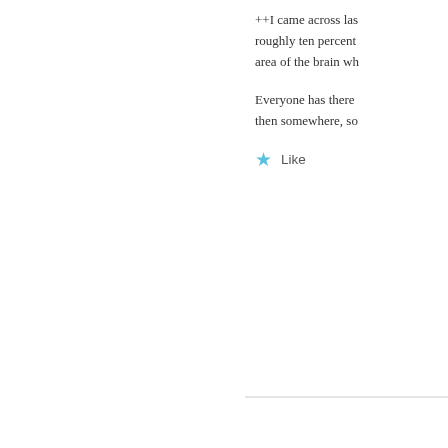++I came across las roughly ten percent area of the brain wh
Everyone has there then somewhere, so
Like
Connie says: December 18, 2012 at 9:2
A week ago today I f pain and starving. To nicely. However, she scheduled for Thursd needs to be outlawed all trapped animals de
Like
Valerie Bittner says: